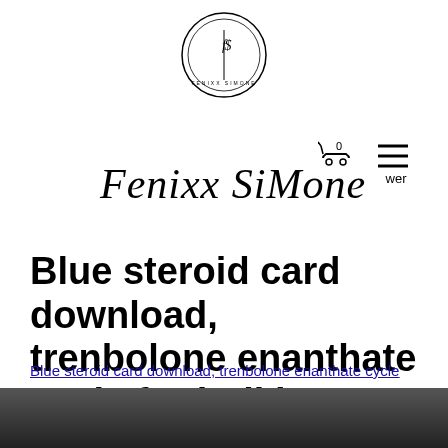[Figure (logo): Circular logo with 'FS' monogram and text around the border — Fenixx Simone brand logo]
[Figure (infographic): Shopping cart icon with '0' badge and hamburger menu icon with label 'wer']
Fenixx SiMone
Blue steroid card download, trenbolone enanthate cycle for bulking
Blue steroid card download, trenbolone enanthate cycle for bulking - Legal steroids for sale
[Figure (photo): Dark image at bottom of page, partially visible]